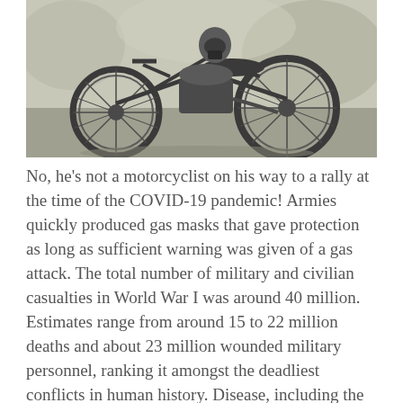[Figure (photo): Black and white photograph of a vintage motorcycle, likely from World War I era, with large spoked wheels visible against a background of foliage.]
No, he's not a motorcyclist on his way to a rally at the time of the COVID-19 pandemic! Armies quickly produced gas masks that gave protection as long as sufficient warning was given of a gas attack. The total number of military and civilian casualties in World War I was around 40 million. Estimates range from around 15 to 22 million deaths and about 23 million wounded military personnel, ranking it amongst the deadliest conflicts in human history. Disease, including the 1918 flu pandemic (and deaths while held as prisoners of war) accounted for about one third of total military deaths. To put things in perspective,